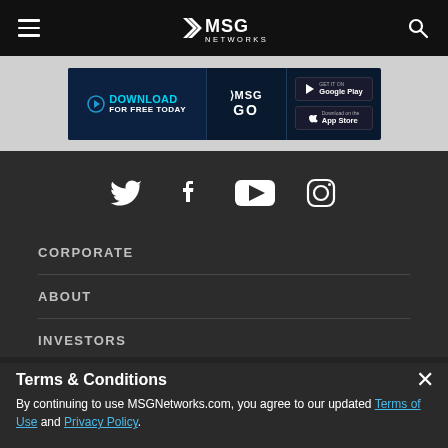MSG Networks - navigation header
[Figure (screenshot): MSG GO app download promotional banner with Google Play and App Store buttons]
[Figure (infographic): Social media icons row: Twitter, Facebook, YouTube, Instagram]
CORPORATE
ABOUT
INVESTORS
Terms & Conditions
By continuing to use MSGNetworks.com, you agree to our updated Terms of Use and Privacy Policy.